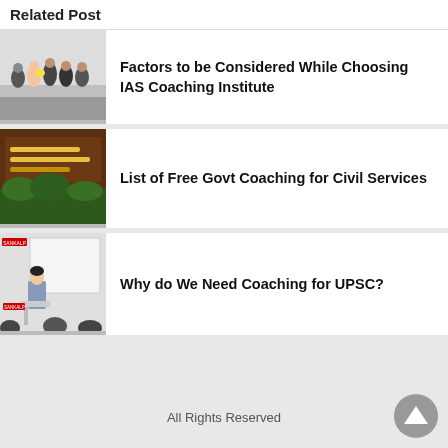Related Post
[Figure (photo): Group of people at an event, possibly a felicitation ceremony]
Factors to be Considered While Choosing IAS Coaching Institute
[Figure (photo): Signboard of a government institute with Hindi text and greenery]
List of Free Govt Coaching for Civil Services
[Figure (photo): A woman presenting at a whiteboard in a classroom setting]
Why do We Need Coaching for UPSC?
All Rights Reserved